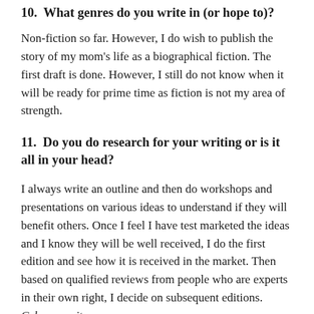10. What genres do you write in (or hope to)?
Non-fiction so far. However, I do wish to publish the story of my mom's life as a biographical fiction. The first draft is done. However, I still do not know when it will be ready for prime time as fiction is not my area of strength.
11. Do you do research for your writing or is it all in your head?
I always write an outline and then do workshops and presentations on various ideas to understand if they will benefit others. Once I feel I have test marketed the ideas and I know they will be well received, I do the first edition and see how it is received in the market. Then based on qualified reviews from people who are experts in their own right, I decide on subsequent editions. Cybersecurity